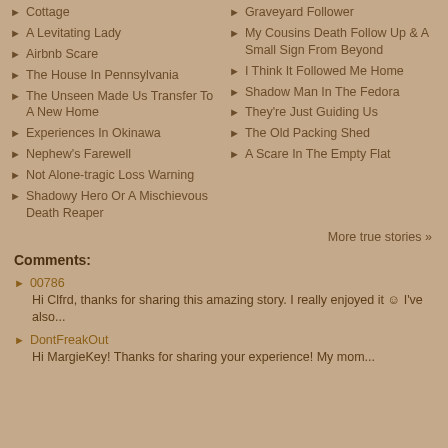Cottage
A Levitating Lady
Airbnb Scare
The House In Pennsylvania
The Unseen Made Us Transfer To A New Home
Experiences In Okinawa
Nephew's Farewell
Not Alone-tragic Loss Warning
Shadowy Hero Or A Mischievous Death Reaper
Graveyard Follower
My Cousins Death Follow Up & A Small Sign From Beyond
I Think It Followed Me Home
Shadow Man In The Fedora
They're Just Guiding Us
The Old Packing Shed
A Scare In The Empty Flat
More true stories »
Comments:
00786
Hi Clfrd, thanks for sharing this amazing story. I really enjoyed it ☺ I've also...
DontFreakOut
Hi MargieKey! Thanks for sharing your experience! My mom...